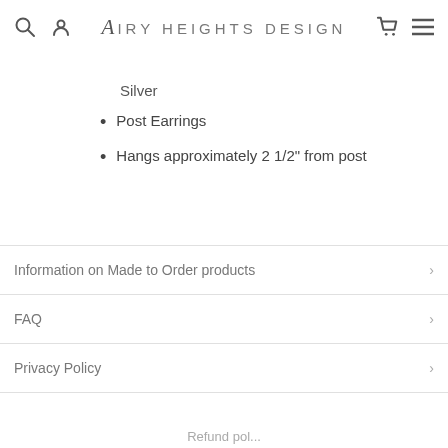Airy Heights Design
Silver
Post Earrings
Hangs approximately 2 1/2" from post
Information on Made to Order products
FAQ
Privacy Policy